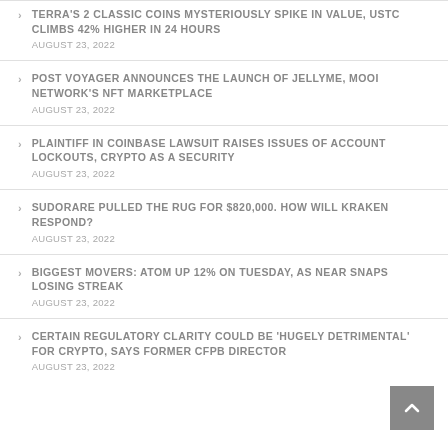TERRA'S 2 CLASSIC COINS MYSTERIOUSLY SPIKE IN VALUE, USTC CLIMBS 42% HIGHER IN 24 HOURS
AUGUST 23, 2022
POST VOYAGER ANNOUNCES THE LAUNCH OF JELLYME, MOOI NETWORK'S NFT MARKETPLACE
AUGUST 23, 2022
PLAINTIFF IN COINBASE LAWSUIT RAISES ISSUES OF ACCOUNT LOCKOUTS, CRYPTO AS A SECURITY
AUGUST 23, 2022
SUDORARE PULLED THE RUG FOR $820,000. HOW WILL KRAKEN RESPOND?
AUGUST 23, 2022
BIGGEST MOVERS: ATOM UP 12% ON TUESDAY, AS NEAR SNAPS LOSING STREAK
AUGUST 23, 2022
CERTAIN REGULATORY CLARITY COULD BE 'HUGELY DETRIMENTAL' FOR CRYPTO, SAYS FORMER CFPB DIRECTOR
AUGUST 23, 2022